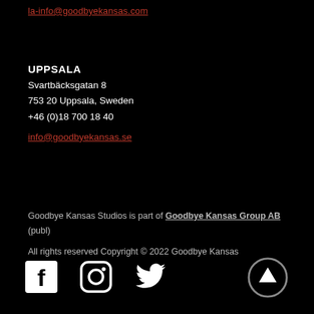la-info@goodbyekansas.com
UPPSALA
Svartbäcksgatan 8
753 20 Uppsala, Sweden
+46 (0)18 700 18 40
info@goodbyekansas.se
Goodbye Kansas Studios is part of Goodbye Kansas Group AB (publ)
All rights reserved Copyright © 2022 Goodbye Kansas
[Figure (infographic): Social media icons: Facebook, Instagram, Twitter, and a circular up-arrow button]